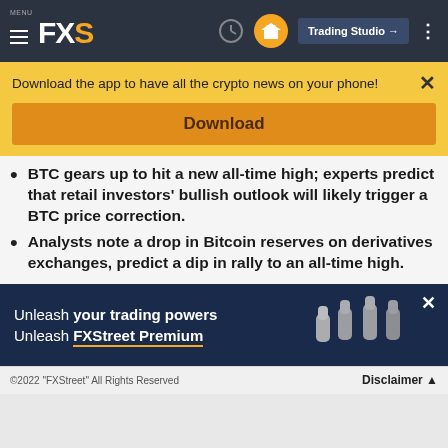MENU FXS | Trading Studio
Download the app to have all the crypto news on your phone!
Download
BTC gears up to hit a new all-time high; experts predict that retail investors' bullish outlook will likely trigger a BTC price correction.
Analysts note a drop in Bitcoin reserves on derivatives exchanges, predict a dip in rally to an all-time high.
[Figure (infographic): Ad banner: Unleash your trading powers Unleash FXStreet Premium with raised fist icons on dark blue background]
©2022 "FXStreet" All Rights Reserved    Disclaimer ▲